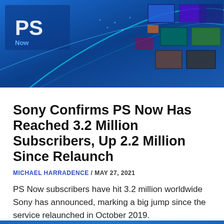[Figure (photo): PlayStation Now promotional hero image with blue background, swirling game thumbnails and PS branding]
Sony Confirms PS Now Has Reached 3.2 Million Subscribers, Up 2.2 Million Since Relaunch
MICHAEL HARRADENCE / MAY 27, 2021
PS Now subscribers have hit 3.2 million worldwide Sony has announced, marking a big jump since the service relaunched in October 2019.
Read more